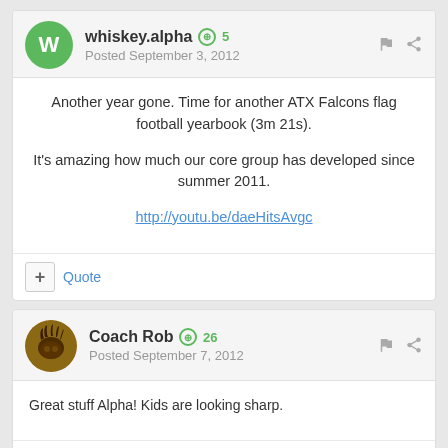whiskey.alpha  ⊕ 5
Posted September 3, 2012
Another year gone. Time for another ATX Falcons flag football yearbook (3m 21s).

It's amazing how much our core group has developed since summer 2011.

http://youtu.be/daeHitsAvgc
Coach Rob  ⊕ 26
Posted September 7, 2012
Great stuff Alpha! Kids are looking sharp.